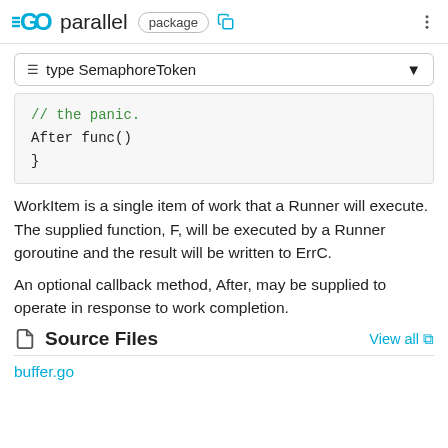GO parallel package
≡ type SemaphoreToken
[Figure (screenshot): Code block showing Go struct code: // the panic. After func() }]
WorkItem is a single item of work that a Runner will execute. The supplied function, F, will be executed by a Runner goroutine and the result will be written to ErrC.
An optional callback method, After, may be supplied to operate in response to work completion.
Source Files
View all
buffer.go